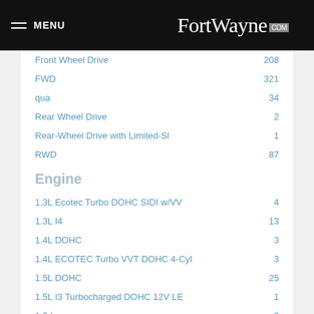MENU FortWayne.com
Front Wheel Drive   208
FWD   321
qua   34
Rear Wheel Drive   2
Rear-Wheel Drive with Limited-Sl   1
RWD   87
Engine
1.3L Ecotec Turbo DOHC SIDI w/VV   4
1.3L I4   13
1.4L DOHC   3
1.4L ECOTEC Turbo VVT DOHC 4-Cyl   3
1.5L DOHC   25
1.5L I3 Turbocharged DOHC 12V LE   1
1.6 L   3
1.6L 4-Cylinder   1